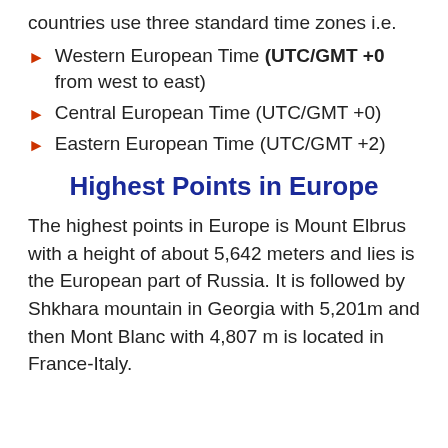countries use three standard time zones i.e.
Western European Time (UTC/GMT +0 from west to east)
Central European Time (UTC/GMT +0)
Eastern European Time (UTC/GMT +2)
Highest Points in Europe
The highest points in Europe is Mount Elbrus with a height of about 5,642 meters and lies is the European part of Russia. It is followed by Shkhara mountain in Georgia with 5,201m and then Mont Blanc with 4,807 m is located in France-Italy.